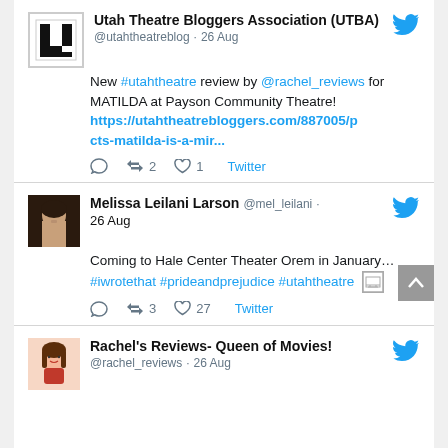Utah Theatre Bloggers Association (UTBA) @utahtheatreblog · 26 Aug
New #utahtheatre review by @rachel_reviews for MATILDA at Payson Community Theatre!
https://utahtheatrebloggers.com/887005/pcts-matilda-is-a-mir...
⟳ 2  ♡ 1  Twitter
Melissa Leilani Larson @mel_leilani · 26 Aug
Coming to Hale Center Theater Orem in January... #iwrotethat #prideandprejudice #utahtheatre [image icon]
⟳ 3  ♡ 27  Twitter
Rachel's Reviews- Queen of Movies! @rachel_reviews · 26 Aug